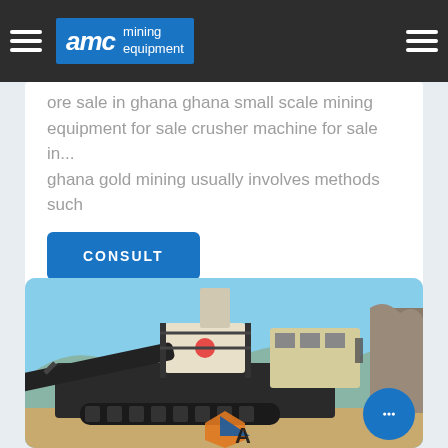AMC mining equipment
ore sale in ghana ghana small scale mining equipment for sale crusher machine for sale in... ghana gold mining usually involves methods such
CONSULT
[Figure (photo): Mobile mining crushing machine/equipment on a construction site with blue sky background, with AMC logo watermark in the lower portion.]